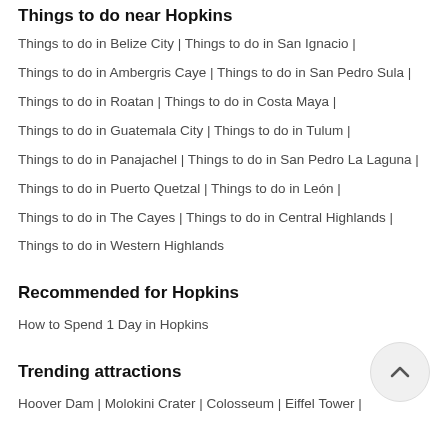Things to do near Hopkins
Things to do in Belize City | Things to do in San Ignacio |
Things to do in Ambergris Caye | Things to do in San Pedro Sula |
Things to do in Roatan | Things to do in Costa Maya |
Things to do in Guatemala City | Things to do in Tulum |
Things to do in Panajachel | Things to do in San Pedro La Laguna |
Things to do in Puerto Quetzal | Things to do in León |
Things to do in The Cayes | Things to do in Central Highlands |
Things to do in Western Highlands
Recommended for Hopkins
How to Spend 1 Day in Hopkins
Trending attractions
Hoover Dam | Molokini Crater | Colosseum | Eiffel Tower |